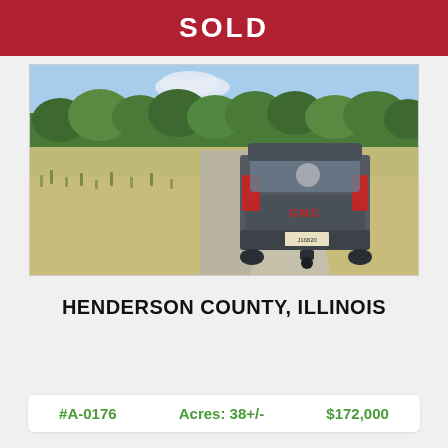SOLD
[Figure (photo): Rear view of a dark grey GMC Sierra pickup truck parked on a gravel path with open field and tree line in background, sunny day]
HENDERSON COUNTY, ILLINOIS
#A-0176   Acres: 38+/-   $172,000